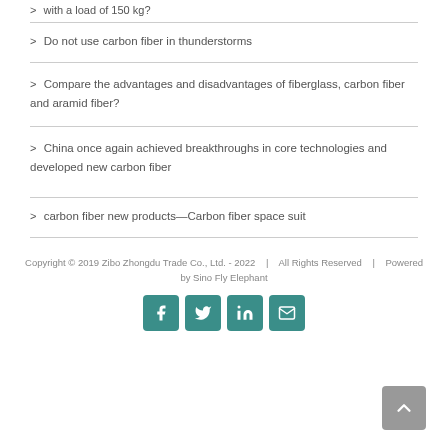with a load of 150 kg?
Do not use carbon fiber in thunderstorms
Compare the advantages and disadvantages of fiberglass, carbon fiber and aramid fiber?
China once again achieved breakthroughs in core technologies and developed new carbon fiber
carbon fiber new products—Carbon fiber space suit
Copyright © 2019 Zibo Zhongdu Trade Co., Ltd. - 2022  |  All Rights Reserved  |  Powered by Sino Fly Elephant